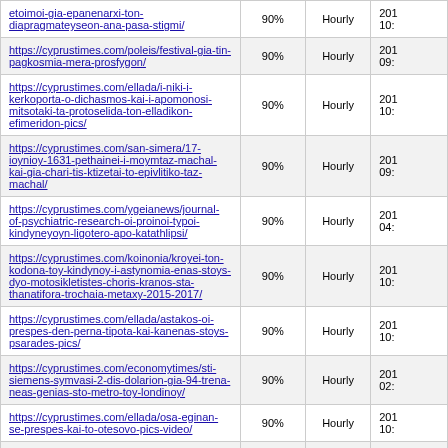| URL | Score | Frequency | Date |
| --- | --- | --- | --- |
| https://cyprustimes.com/poleis/etoimoi-gia-epanenarxi-ton-diapragmateyseon-ana-pasa-stigmi/ | 90% | Hourly | 201 10: |
| https://cyprustimes.com/poleis/festival-gia-tin-pagkosmia-mera-prosfygon/ | 90% | Hourly | 201 09: |
| https://cyprustimes.com/ellada/i-niki-i-kerkoporta-o-dichasmos-kai-i-apomonosi-mitsotaki-ta-protoselida-ton-elladikon-efimeridon-pics/ | 90% | Hourly | 201 10: |
| https://cyprustimes.com/san-simera/17-ioynioy-1631-pethainei-i-moymtaz-machal-kai-gia-chari-tis-ktizetai-to-epivlitiko-taz-machal/ | 90% | Hourly | 201 09: |
| https://cyprustimes.com/ygeianews/journal-of-psychiatric-research-oi-proinoi-typoi-kindyneyoyn-ligotero-apo-katathlipsi/ | 90% | Hourly | 201 04: |
| https://cyprustimes.com/koinonia/kroyei-ton-kodona-toy-kindynoy-i-astynomia-enas-stoys-dyo-motosikletistes-choris-kranos-sta-thanatifora-trochaia-metaxy-2015-2017/ | 90% | Hourly | 201 10: |
| https://cyprustimes.com/ellada/astakos-oi-prespes-den-perna-tipota-kai-kanenas-stoys-psarades-pics/ | 90% | Hourly | 201 10: |
| https://cyprustimes.com/economytimes/sti-siemens-symvasi-2-dis-dolarion-gia-94-trena-neas-genias-sto-metro-toy-londinoy/ | 90% | Hourly | 201 02: |
| https://cyprustimes.com/ellada/osa-eginan-se-prespes-kai-to-otesovo-pics-video/ | 90% | Hourly | 201 10: |
| https://cyprustimes.com/kosmos/enischysi-toy-dialogoy-me-toyrkia-zita-o-makron/ | 90% | Hourly | 201 10: |
| https://cyprustimes.com/kosmos/tragodia-sto-karakas- | 90% | Hourly | 201 |